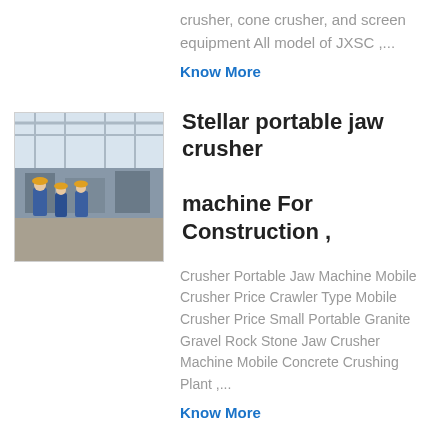crusher, cone crusher, and screen equipment All model of JXSC ,...
Know More
[Figure (photo): Industrial facility interior with workers in blue uniforms]
Stellar portable jaw crusher machine For Construction ,
Crusher Portable Jaw Machine Mobile Crusher Price Crawler Type Mobile Crusher Price Small Portable Granite Gravel Rock Stone Jaw Crusher Machine Mobile Concrete Crushing Plant ,...
Know More
[Figure (photo): Industrial machinery with workers near stone crushing equipment]
Small Scale Mobile Rock Stone crush Plant Miniature ,
Nov 27, 2021 0183 32 The small jaw crusher, also called mini jaw crusher, is designed for fast crushing of aggregates, ores, minerals, coal, coke, chemicals and